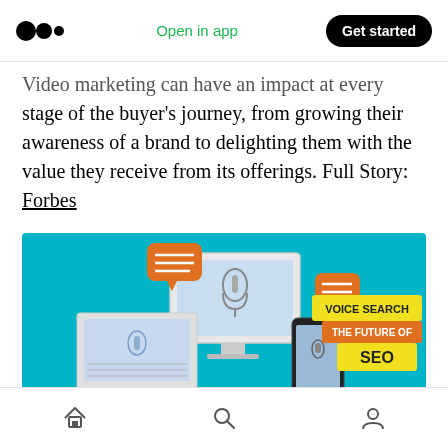Medium logo | Open in app | Get started
Video marketing can have an impact at every stage of the buyer's journey, from growing their awareness of a brand to delighting them with the value they receive from its offerings. Full Story: Forbes
[Figure (infographic): Illustration showing a laptop, desktop monitor, and smartphone with speech bubbles and the text 'VOICE SEARCH THE FUTURE OF SEO' on a teal background]
Alexa is shutting down, which is the next best
Home | Search | Profile